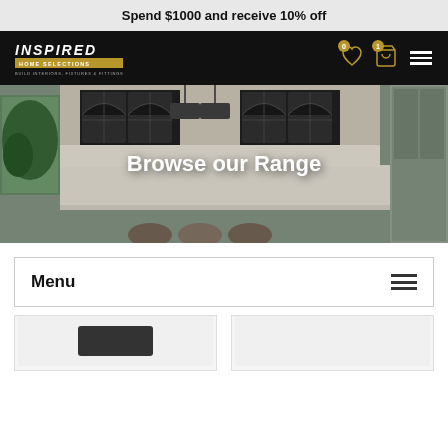Spend $1000 and receive 10% off
[Figure (logo): Inspired Home Selections logo with gold bar and tagline: BUILD INTERIORS, FIXTURES & FITTINGS]
[Figure (photo): Kitchen interior hero image with arched black cabinets, pendant lights, white island]
Browse our Range
Menu
[Figure (other): Product card placeholder left]
[Figure (other): Product card placeholder right]